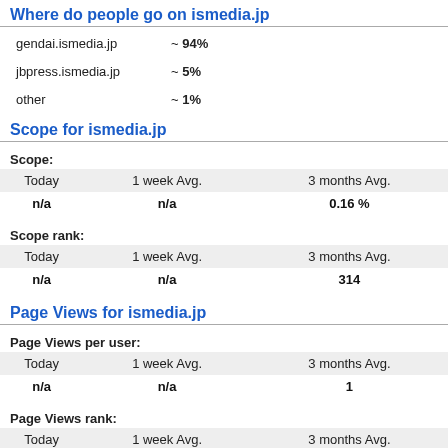Where do people go on ismedia.jp
gendai.ismedia.jp   ~ 94%
jbpress.ismedia.jp  ~ 5%
other               ~ 1%
Scope for ismedia.jp
Scope:
| Today | 1 week Avg. | 3 months Avg. |
| --- | --- | --- |
| n/a | n/a | 0.16 % |
Scope rank:
| Today | 1 week Avg. | 3 months Avg. |
| --- | --- | --- |
| n/a | n/a | 314 |
Page Views for ismedia.jp
Page Views per user:
| Today | 1 week Avg. | 3 months Avg. |
| --- | --- | --- |
| n/a | n/a | 1 |
Page Views rank:
| Today | 1 week Avg. | 3 months Avg. |
| --- | --- | --- |
| n/a | n/a | 351 |